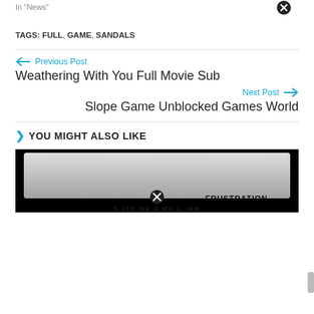In "News"
TAGS: FULL, GAME, SANDALS
Previous Post
Weathering With You Full Movie Sub
Next Post
Slope Game Unblocked Games World
YOU MIGHT ALSO LIKE
[Figure (photo): Thumbnail image with FRUSTRATION text label and close button overlay]